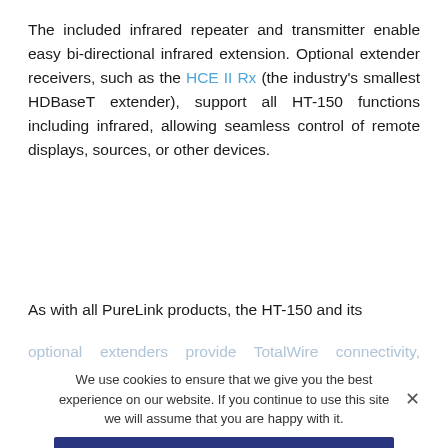The included infrared repeater and transmitter enable easy bi-directional infrared extension. Optional extender receivers, such as the HCE II Rx (the industry's smallest HDBaseT extender), support all HT-150 functions including infrared, allowing seamless control of remote displays, sources, or other devices.
As with all PureLink products, the HT-150 and its optional extenders provide TotalWire connectivity, ensuring exact matching of I/O ports' electrical characteristics to TotalWire cables.
We use cookies to ensure that we give you the best experience on our website. If you continue to use this site we will assume that you are happy with it.
OK
Additional valuable details such as the cable